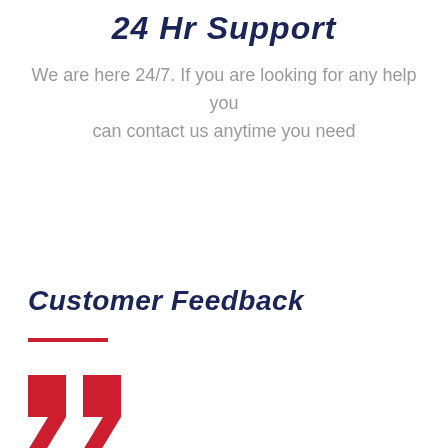24 Hr Support
We are here 24/7. If you are looking for any help you can contact us anytime you need
Customer Feedback
[Figure (illustration): Red double quotation mark decorative icon]